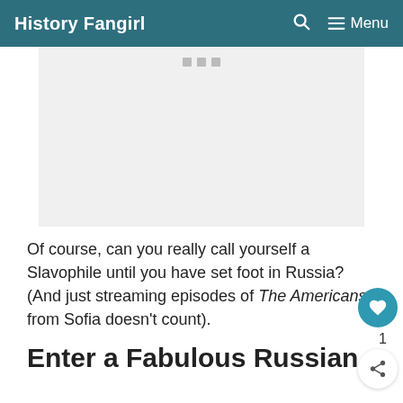History Fangirl  🔍  ≡ Menu
[Figure (other): Advertisement placeholder with three small gray squares at top]
Of course, can you really call yourself a Slavophile until you have set foot in Russia? (And just streaming episodes of The Americans from Sofia doesn't count).
Enter a Fabulous Russian